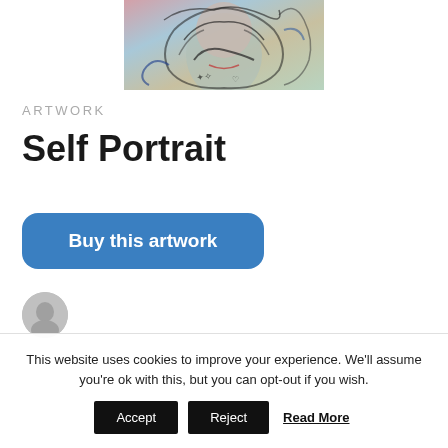[Figure (photo): Partial view of a colorful mixed-media self portrait artwork with abstract line drawings over a face]
ARTWORK
Self Portrait
Buy this artwork
This website uses cookies to improve your experience. We'll assume you're ok with this, but you can opt-out if you wish.
Accept
Reject
Read More